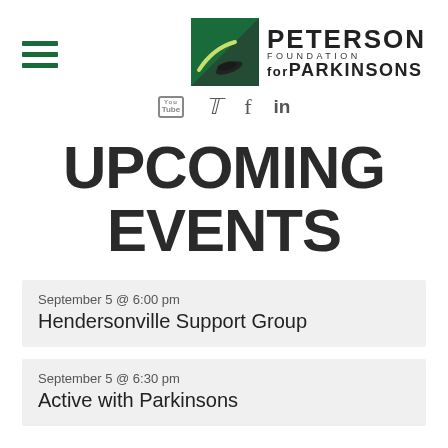Peterson Foundation for Parkinsons
UPCOMING EVENTS
September 5 @ 6:00 pm
Hendersonville Support Group
September 5 @ 6:30 pm
Active with Parkinsons